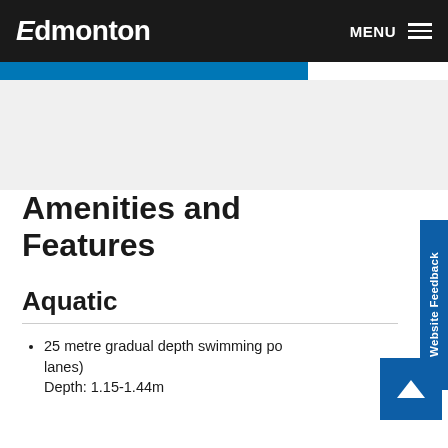Edmonton   MENU
Amenities and Features
Aquatic
25 metre gradual depth swimming pool (... lanes)
Depth: 1.15-1.44m